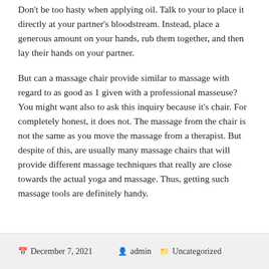Don't be too hasty when applying oil. Talk to your to place it directly at your partner's bloodstream. Instead, place a generous amount on your hands, rub them together, and then lay their hands on your partner.
But can a massage chair provide similar to massage with regard to as good as 1 given with a professional masseuse? You might want also to ask this inquiry because it's chair. For completely honest, it does not. The massage from the chair is not the same as you move the massage from a therapist. But despite of this, are usually many massage chairs that will provide different massage techniques that really are close towards the actual yoga and massage. Thus, getting such massage tools are definitely handy.
December 7, 2021   admin   Uncategorized